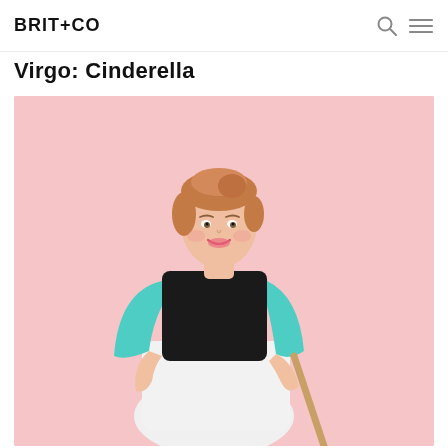BRIT+CO
Virgo: Cinderella
[Figure (photo): Woman dressed as Cinderella in her pre-ball cleaning outfit: black sleeveless top, teal/mint cardigan, white skirt, holding a broom handle, posing against a pink background with hand on hip, smiling.]